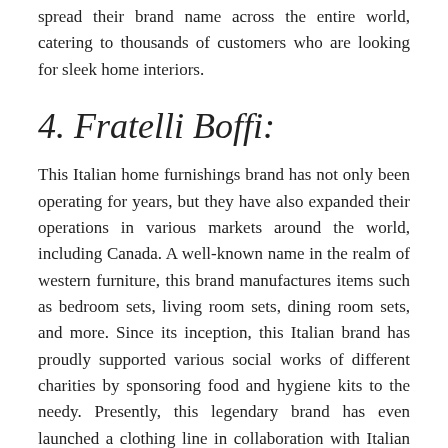spread their brand name across the entire world, catering to thousands of customers who are looking for sleek home interiors.
4. Fratelli Boffi:
This Italian home furnishings brand has not only been operating for years, but they have also expanded their operations in various markets around the world, including Canada. A well-known name in the realm of western furniture, this brand manufactures items such as bedroom sets, living room sets, dining room sets, and more. Since its inception, this Italian brand has proudly supported various social works of different charities by sponsoring food and hygiene kits to the needy. Presently, this legendary brand has even launched a clothing line in collaboration with Italian fashion icon Valentino. The main pioneering idea behind this brand of Italian furnishing items is centred on